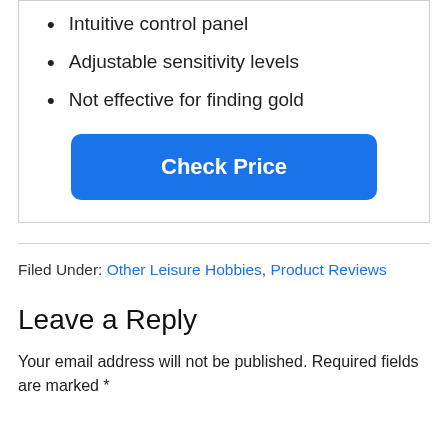Intuitive control panel
Adjustable sensitivity levels
Not effective for finding gold
[Figure (other): Blue 'Check Price' button]
Filed Under: Other Leisure Hobbies, Product Reviews
Leave a Reply
Your email address will not be published. Required fields are marked *